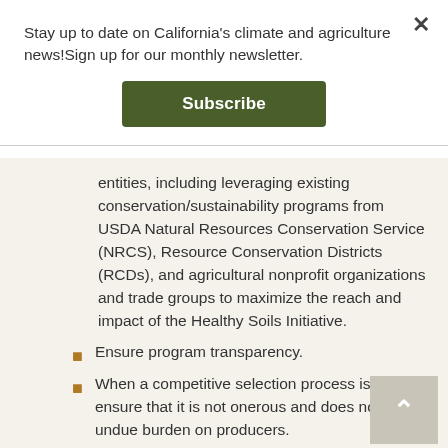Stay up to date on California's climate and agriculture news!Sign up for our monthly newsletter.
Subscribe
entities, including leveraging existing conservation/sustainability programs from USDA Natural Resources Conservation Service (NRCS), Resource Conservation Districts (RCDs), and agricultural nonprofit organizations and trade groups to maximize the reach and impact of the Healthy Soils Initiative.
Ensure program transparency.
When a competitive selection process is used, ensure that it is not onerous and does not put undue burden on producers.
Integrate input from local growers to inform implementation of the statewide program.